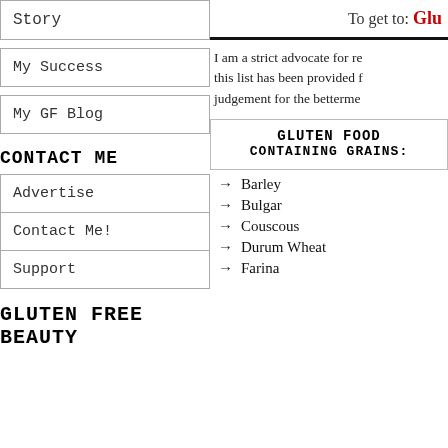Story
My Success
My GF Blog
CONTACT ME
Advertise
Contact Me!
Support
GLUTEN FREE BEAUTY
To get to: Glu
I am a strict advocate for re... this list has been provided f... judgement for the betterme...
GLUTEN FOOD CONTAINING GRAINS:
Barley
Bulgar
Couscous
Durum Wheat
Farina